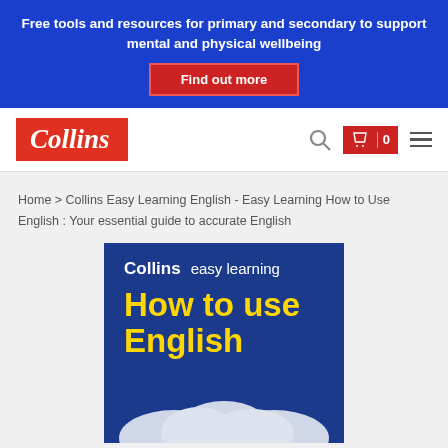Free tools and resources for primary and secondary to support mental and physical wellbeing
Find out more
[Figure (logo): Collins logo - red background with white italic bold text 'Collins']
Home > Collins Easy Learning English - Easy Learning How to Use English : Your essential guide to accurate English
[Figure (illustration): Book cover for Collins Easy Learning 'How to use English' - dark navy background with white 'Collins easy learning' header text, yellow bold 'How to use English' title, and cloud illustration at bottom]